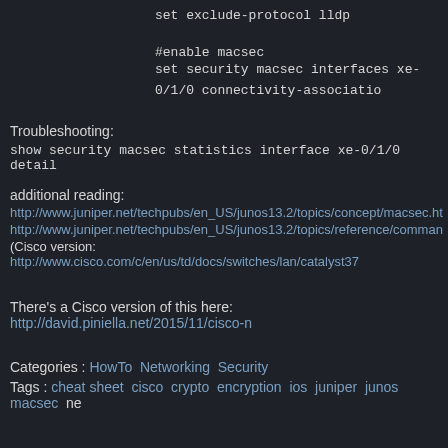set exclude-protocol lldp
#enable macsec
set security macsec interfaces xe-0/1/0 connectivity-associati...
Troubleshooting:
show security macsec statistics interface xe-0/1/0 detail
additional reading:
http://www.juniper.net/techpubs/en_US/junos13.2/topics/concept/macsec.ht...
http://www.juniper.net/techpubs/en_US/junos13.2/topics/reference/comman...
(Cisco version: http://www.cisco.com/c/en/us/td/docs/switches/lan/catalyst37...
There's a Cisco version of this here: http://david.piniella.net/2015/11/cisco-n...
Categories : HowTo  Networking  Security
Tags : cheat sheet  cisco  crypto  encryption  ios  juniper  junos  macsec  ne...